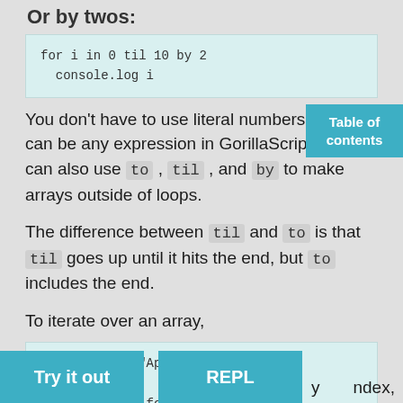Or by twos:
You don't have to use literal numbers, they can be any expression in GorillaScript. You can also use `to`, `til`, and `by` to make arrays outside of loops.
The difference between `til` and `to` is that `til` goes up until it hits the end, but `to` includes the end.
To iterate over an array,